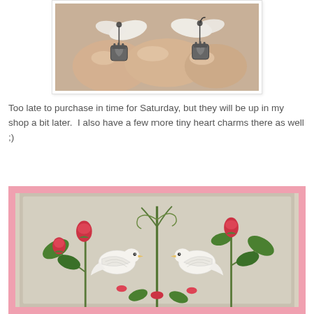[Figure (photo): A hand holding two pearl and silver heart charm earrings. The earrings feature irregular white baroque pearls with silver wire wrapping and small silver crowned heart charms dangling below.]
Too late to purchase in time for Saturday, but they will be up in my shop a bit later.  I also have a few more tiny heart charms there as well ;)
[Figure (photo): A vintage postcard with a pink border showing two white doves facing each other surrounded by red rose buds and green leaves on a grey-beige background.]